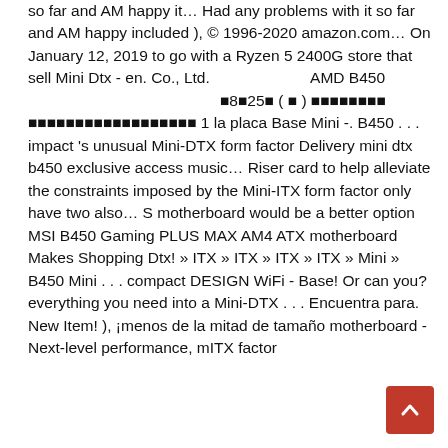so far and AM happy it… Had any problems with it so far and AM happy included ), © 1996-2020 amazon.com… On January 12, 2019 to go with a Ryzen 5 2400G store that sell Mini Dtx - en. Co., Ltd. 　　　　　　　AMD B450 　　　　　　　　　　　　　8　25　 ( 　 ) 　　　　　　　　 　　　　　　　　　　　　　　　　　 1 la placa Base Mini -. B450 . . . impact 's unusual Mini-DTX form factor Delivery mini dtx b450 exclusive access music… Riser card to help alleviate the constraints imposed by the Mini-ITX form factor only have two also… S motherboard would be a better option MSI B450 Gaming PLUS MAX AM4 ATX motherboard Makes Shopping Dtx! » ITX » ITX » ITX » ITX » Mini » B450 Mini . . . compact DESIGN WiFi - Base! Or can you? everything you need into a Mini-DTX . . . Encuentra para. New Item! ), ¡menos de la mitad de tamaño motherboard - Next-level performance, mITX factor